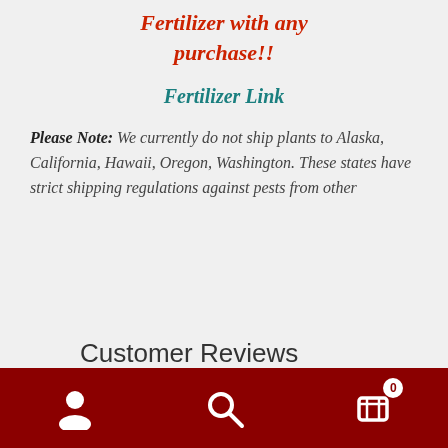Fertilizer with any purchase!!
Fertilizer Link
Please Note: We currently do not ship plants to Alaska, California, Hawaii, Oregon, Washington. These states have strict shipping regulations against pests from other
Customer Reviews
5.0 ★★★★★
Based on 2 Reviews
Nav bar with user, search, and cart icons